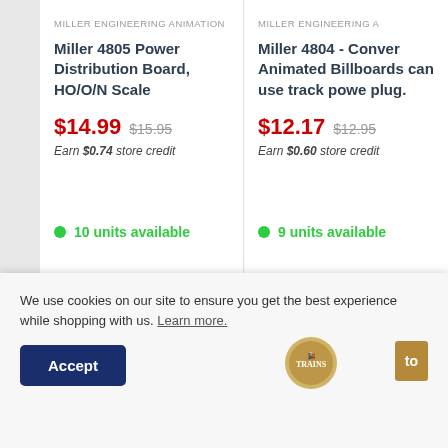MILLER ENGINEERING ANIMATION
Miller 4805 Power Distribution Board, HO/O/N Scale
$14.99  $15.95
Earn $0.74 store credit
10 units available
Pay in 4 interest-free installments for orders over $50 with Shop Pay
MILLER ENGINEERING A...
Miller 4804 - Conver... Animated Billboards... can use track power plug.
$12.17  $12.95
Earn $0.60 store credit
9 units available
Pay in 4 interest-free for orders over $50
We use cookies on our site to ensure you get the best experience while shopping with us. Learn more.
Accept